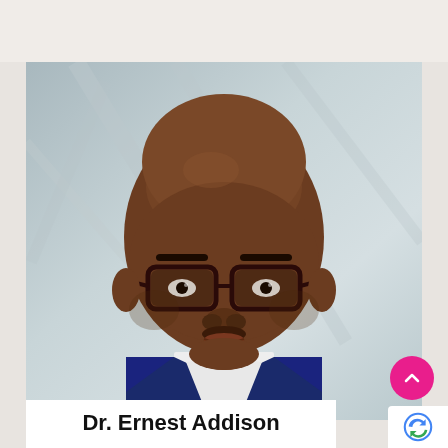[Figure (photo): Professional headshot portrait of Dr. Ernest Addison, an African man wearing glasses and a dark suit, photographed against a light geometric background]
Dr. Ernest Addison